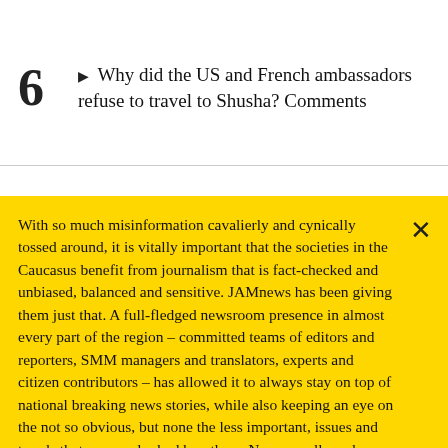6 ▶ Why did the US and French ambassadors refuse to travel to Shusha? Comments
With so much misinformation cavalierly and cynically tossed around, it is vitally important that the societies in the Caucasus benefit from journalism that is fact-checked and unbiased, balanced and sensitive. JAMnews has been giving them just that. A full-fledged newsroom presence in almost every part of the region – committed teams of editors and reporters, SMM managers and translators, experts and citizen contributors – has allowed it to always stay on top of national breaking news stories, while also keeping an eye on the not so obvious, but none the less important, issues and trends that are overlooked by others. Now, we all need your support if we are to keep the
Support JAMnews →